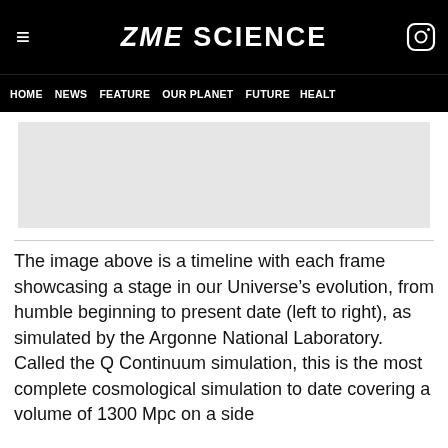ZME SCIENCE
HOME  NEWS  FEATURE  OUR PLANET  FUTURE  HEALT
[Figure (other): Gray placeholder/advertisement block below navigation]
The image above is a timeline with each frame showcasing a stage in our Universe’s evolution, from humble beginning to present date (left to right), as simulated by the Argonne National Laboratory. Called the Q Continuum simulation, this is the most complete cosmological simulation to date covering a volume of 1300 Mpc on a side